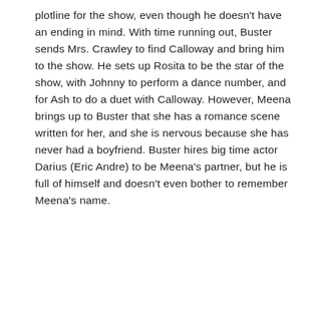plotline for the show, even though he doesn't have an ending in mind. With time running out, Buster sends Mrs. Crawley to find Calloway and bring him to the show. He sets up Rosita to be the star of the show, with Johnny to perform a dance number, and for Ash to do a duet with Calloway. However, Meena brings up to Buster that she has a romance scene written for her, and she is nervous because she has never had a boyfriend. Buster hires big time actor Darius (Eric Andre) to be Meena's partner, but he is full of himself and doesn't even bother to remember Meena's name.